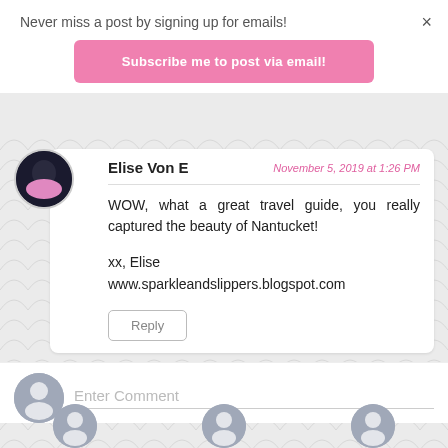Never miss a post by signing up for emails!
Subscribe me to post via email!
×
Elise Von E
November 5, 2019 at 1:26 PM
WOW, what a great travel guide, you really captured the beauty of Nantucket!

xx, Elise
www.sparkleandslippers.blogspot.com
Reply
Enter Comment